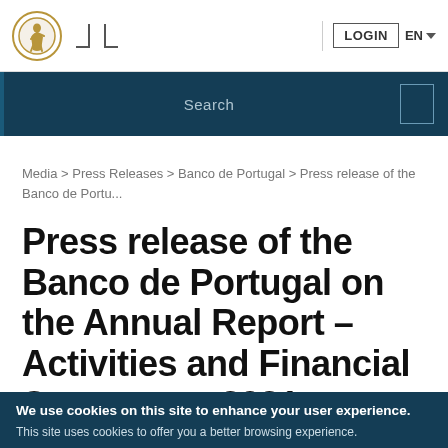[Figure (logo): Banco de Portugal circular logo with gold border featuring a human figure illustration]
LOGIN | EN
Search
Media > Press Releases > Banco de Portugal > Press release of the Banco de Portu...
Press release of the Banco de Portugal on the Annual Report – Activities and Financial Statements 2021
17 May 2022
We use cookies on this site to enhance your user experience.
This site uses cookies to offer you a better browsing experience.